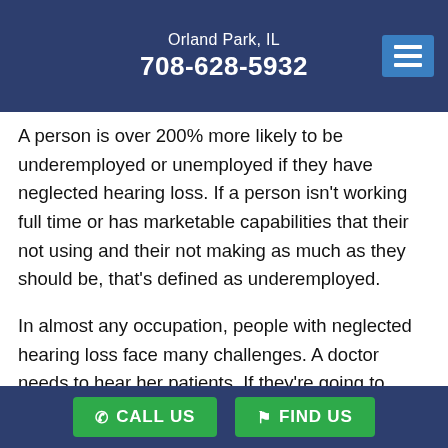Orland Park, IL
708-628-5932
A person is over 200% more likely to be underemployed or unemployed if they have neglected hearing loss. If a person isn't working full time or has marketable capabilities that their not using and their not making as much as they should be, that's defined as underemployed.
In almost any occupation, people with neglected hearing loss face many challenges. A doctor needs to hear her patients. If they're going to efficiently work together, construction workers
CALL US   FIND US